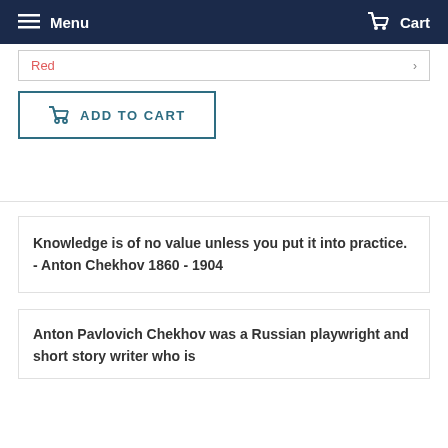Menu  Cart
Red
ADD TO CART
Knowledge is of no value unless you put it into practice.   - Anton Chekhov  1860 - 1904
Anton Pavlovich Chekhov was a Russian playwright and short story writer who is...